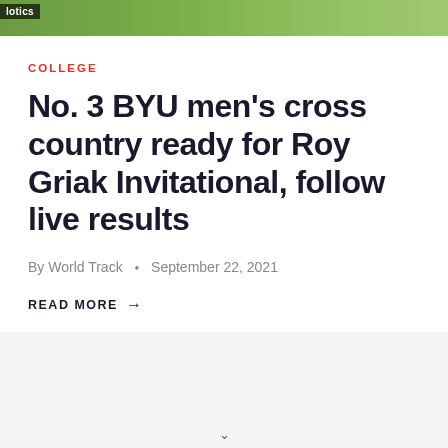[Figure (photo): Green grass background with 'lotics' tag label in top left corner]
COLLEGE
No. 3 BYU men's cross country ready for Roy Griak Invitational, follow live results
By World Track • September 22, 2021
READ MORE →